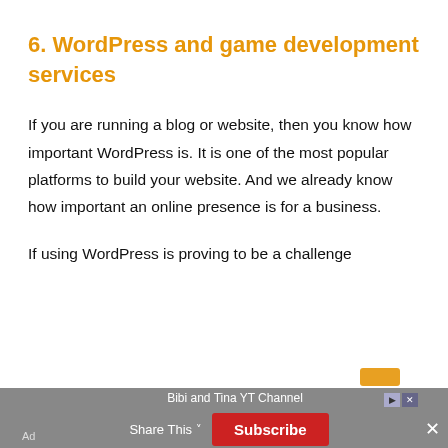6. WordPress and game development services
If you are running a blog or website, then you know how important WordPress is. It is one of the most popular platforms to build your website. And we already know how important an online presence is for a business.
If using WordPress is proving to be a challenge
Bibi and Tina YT Channel | Share This | Subscribe | Ad